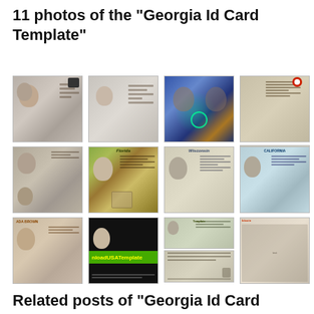11 photos of the "Georgia Id Card Template"
[Figure (photo): Grid of 11 ID card template photos showing various US state ID cards including Georgia, Florida, Wisconsin, California templates]
Related posts of "Georgia Id Card